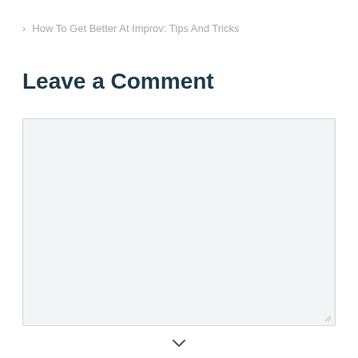> How To Get Better At Improv: Tips And Tricks
Leave a Comment